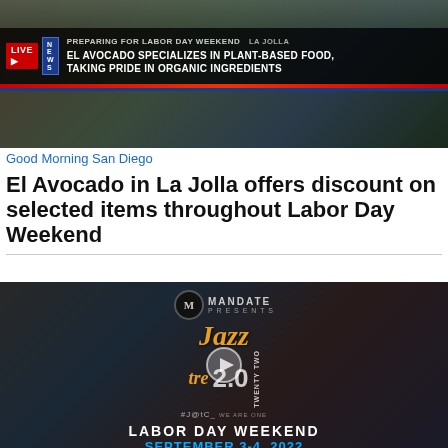[Figure (screenshot): TV news screenshot showing LIVE broadcast with chyron: 'PREPARING FOR LABOR DAY WEEKEND LA JOLLA' and lower third: 'EL AVOCADO SPECIALIZES IN PLANT-BASED FOOD, TAKING PRIDE IN ORGANIC INGREDIENTS']
Good Morning San Diego
El Avocado in La Jolla offers discount on selected items throughout Labor Day Weekend
[Figure (screenshot): Video thumbnail for Jazz festival event: MANDATE PRESENTS Jazz Tre 2.0 / Twenty Two, #J@tC, LABOR DAY WEEKEND, SEPTEMBER 3-4, 2022, with play button overlay]